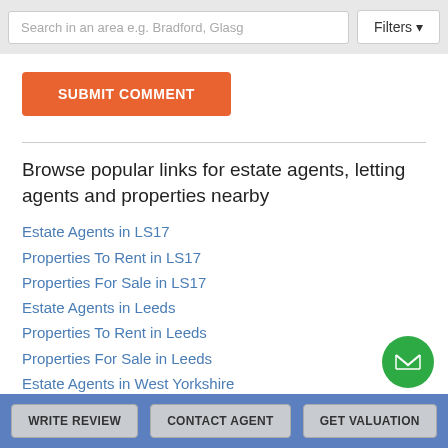Search in an area e.g. Bradford, Glasg | Filters
SUBMIT COMMENT
Browse popular links for estate agents, letting agents and properties nearby
Estate Agents in LS17
Properties To Rent in LS17
Properties For Sale in LS17
Estate Agents in Leeds
Properties To Rent in Leeds
Properties For Sale in Leeds
Estate Agents in West Yorkshire
Properties To Rent in West Yorkshire
Properties For Sale in West Yorkshire
WRITE REVIEW | CONTACT AGENT | GET VALUATION